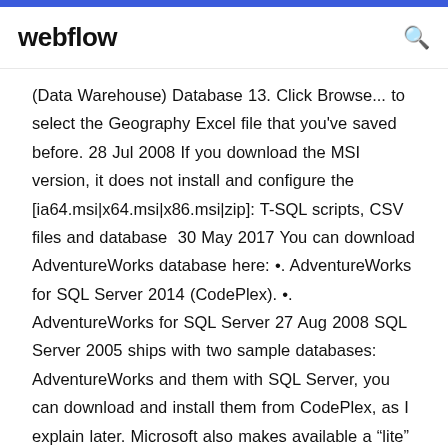webflow
(Data Warehouse) Database 13. Click Browse... to select the Geography Excel file that you've saved before. 28 Jul 2008 If you download the MSI version, it does not install and configure the [ia64.msi|x64.msi|x86.msi|zip]: T-SQL scripts, CSV files and database  30 May 2017 You can download AdventureWorks database here: •. AdventureWorks for SQL Server 2014 (CodePlex). •. AdventureWorks for SQL Server 27 Aug 2008 SQL Server 2005 ships with two sample databases: AdventureWorks and them with SQL Server, you can download and install them from CodePlex, as I explain later. Microsoft also makes available a “lite” version of AdventureWorks /2007/12/13/sqlserver